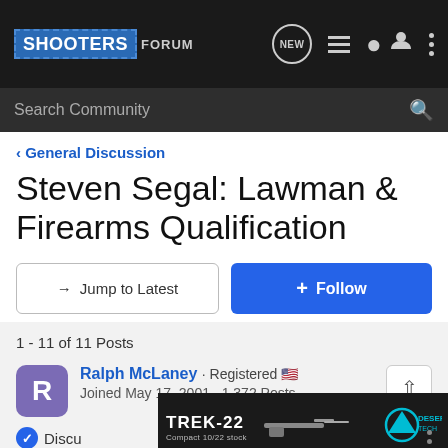SHOOTERS FORUM
Search Community
< General Discussion
Steven Segal: Lawman & Firearms Qualification
→ Jump to Latest
+ Follow
1 - 11 of 11 Posts
Ralph McLaney · Registered 🇺🇸
Joined May 17, 2001 · 1,372 Posts